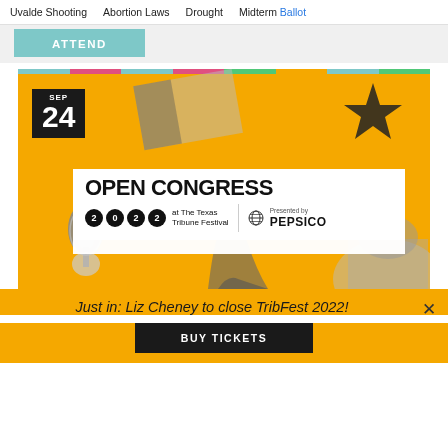Uvalde Shooting   Abortion Laws   Drought   Midterm Ballot
ATTEND
[Figure (infographic): Open Congress 2022 at The Texas Tribune Festival, presented by PepsiCo. Yellow background with black-and-white imagery of microphone, Texas flag, star, cowboy boot, capitol dome. Date shown: SEP 24. White banner overlay with event title and sponsor logos.]
Just in: Liz Cheney to close TribFest 2022!
BUY TICKETS